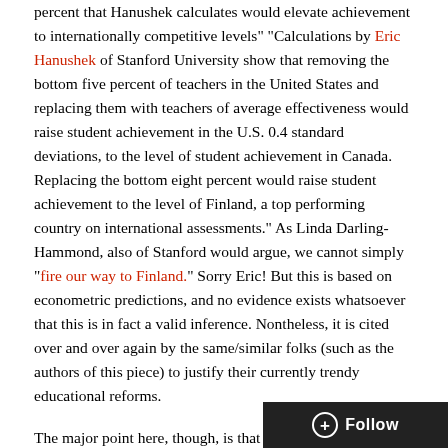percent that Hanushek calculates would elevate achievement to internationally competitive levels" "Calculations by Eric Hanushek of Stanford University show that removing the bottom five percent of teachers in the United States and replacing them with teachers of average effectiveness would raise student achievement in the U.S. 0.4 standard deviations, to the level of student achievement in Canada. Replacing the bottom eight percent would raise student achievement to the level of Finland, a top performing country on international assessments." As Linda Darling-Hammond, also of Stanford would argue, we cannot simply "fire our way to Finland." Sorry Eric! But this is based on econometric predictions, and no evidence exists whatsoever that this is in fact a valid inference. Nontheless, it is cited over and over again by the same/similar folks (such as the authors of this piece) to justify their currently trendy educational reforms.
The major point here, though, is that "if Texas wanted to remove (or improve) the bottom five to eight percent of its teachers, the current evaluation system would not be able to identify them;" hence, the state desperately needs a VAM-based system to do this. Again, no research to counter this or really any claim...